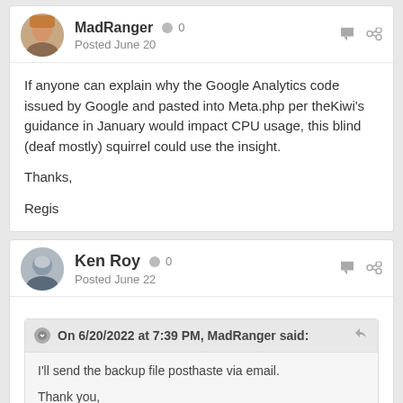MadRanger • 0 — Posted June 20
If anyone can explain why the Google Analytics code issued by Google and pasted into Meta.php per theKiwi's guidance in January would impact CPU usage, this blind (deaf mostly) squirrel could use the insight.

Thanks,

Regis
Ken Roy • 0 — Posted June 22
On 6/20/2022 at 7:39 PM, MadRanger said:

I'll send the backup file posthaste via email.

Thank you,

Regis